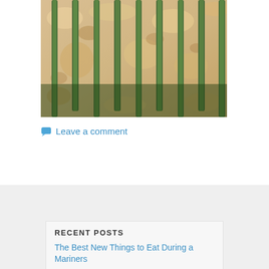[Figure (photo): Close-up photo of asparagus spears baked on a pastry tart, covered with grated cheese, golden and browned.]
Leave a comment
RECENT POSTS
The Best New Things to Eat During a Mariners